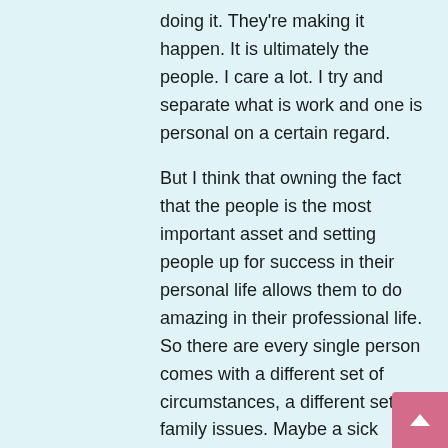doing it. They're making it happen. It is ultimately the people. I care a lot. I try and separate what is work and one is personal on a certain regard.
But I think that owning the fact that the people is the most important asset and setting people up for success in their personal life allows them to do amazing in their professional life. So there are every single person comes with a different set of circumstances, a different set of family issues. Maybe a sick parent, maybe a sick child, maybe financial strain at home. And I have realized that me as a person realizing to work around that, it's setting people up in a way where they can minimize the stress that they have at home and